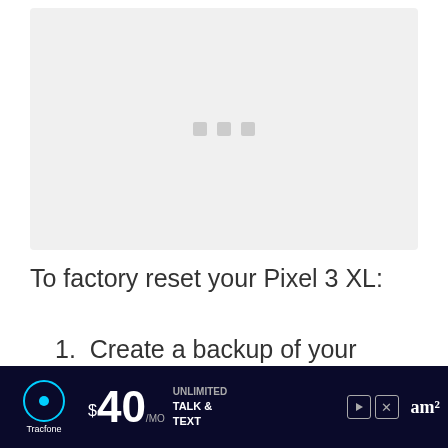[Figure (screenshot): A light gray placeholder/loading image area with three small gray square dots near the top center, representing an unloaded screenshot of a device screen.]
To factory reset your Pixel 3 XL:
1. Create a backup of your personal data.
[Figure (other): Tracfone advertisement banner: dark navy background with Tracfone logo, $40/mo unlimited talk & text offer, play and close buttons, and a partial logo on the right.]